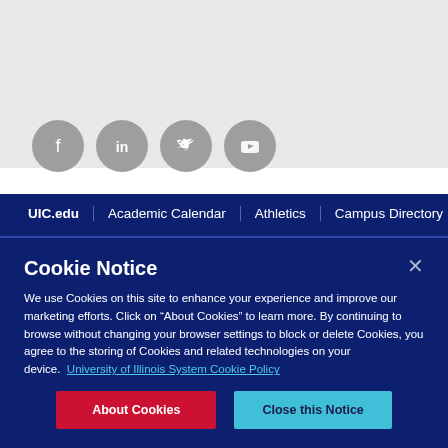[Figure (illustration): Social media icons row: Facebook, LinkedIn, Twitter, YouTube — grey circular icons on a grey background]
UIC.edu | Academic Calendar | Athletics | Campus Directory | Disability Resources... | Financial Information... | Event Schedule...
Cookie Notice
We use Cookies on this site to enhance your experience and improve our marketing efforts. Click on “About Cookies” to learn more. By continuing to browse without changing your browser settings to block or delete Cookies, you agree to the storing of Cookies and related technologies on your device. University of Illinois System Cookie Policy
About Cookies | Close this Notice